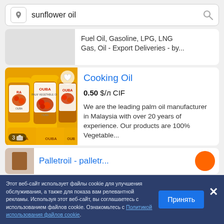[Figure (screenshot): Search bar with location pin icon and text 'sunflower oil' and search magnifier icon]
Fuel Oil, Gasoline, LPG, LNG Gas, Oil - Export Deliveries - by...
[Figure (photo): Yellow OUBA branded cooking oil containers/jugs stacked together]
Cooking Oil
0.50 $/л CIF
We are the leading palm oil manufacturer in Malaysia with over 20 years of experience. Our products are 100% Vegetable...
Palletroil - palletr...
Этот веб-сайт использует файлы cookie для улучшения обслуживания, а также для показа вам релевантной рекламы. Используя этот веб-сайт, вы соглашаетесь с использованием файлов cookie. Ознакомьтесь с Политикой использования файлов cookie.
Принять